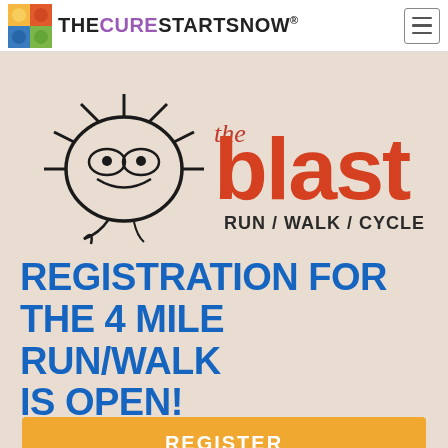THE CURE STARTS NOW
[Figure (logo): The Cure Starts Now logo with colorful tile square icon and text. Below it is 'the blast' event logo with a cartoon sun-creature character and text reading 'the blast RUN / WALK / CYCLE / CELEBRATE' in red/orange.]
REGISTRATION FOR THE 4 MILE RUN/WALK IS OPEN!
REGISTER
DONATE